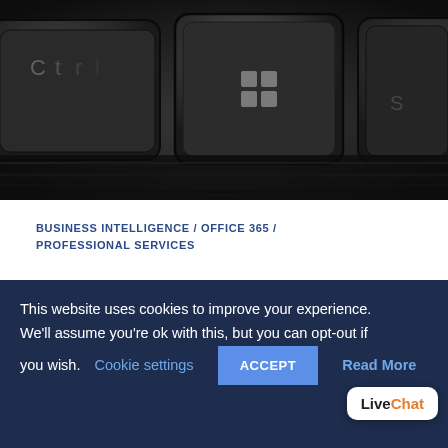[Figure (photo): Close-up photograph of dark keyboard keys, with the Windows key (showing the Windows logo) prominently in the center, on a dark background]
BUSINESS INTELLIGENCE / OFFICE 365 / PROFESSIONAL SERVICES
Are You Making Use of All the Office Applications Microsoft
This website uses cookies to improve your experience. We'll assume you're ok with this, but you can opt-out if you wish. Cookie settings ACCEPT Read More